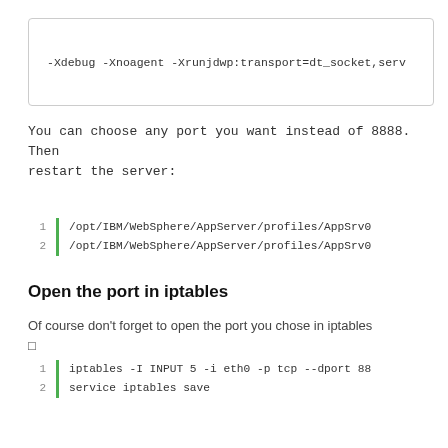-Xdebug -Xnoagent -Xrunjdwp:transport=dt_socket,serv
You can choose any port you want instead of 8888. Then restart the server:
1  /opt/IBM/WebSphere/AppServer/profiles/AppSrv0
2  /opt/IBM/WebSphere/AppServer/profiles/AppSrv0
Open the port in iptables
Of course don't forget to open the port you chose in iptables □
1  iptables -I INPUT 5 -i eth0 -p tcp --dport 88
2  service iptables save